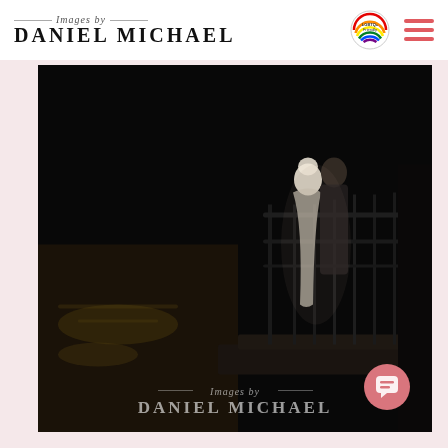Images by DANIEL MICHAEL
[Figure (photo): Wedding couple standing on a dark dock at night near a reflective body of water. The woman is in a white gown facing the man who is in a dark suit. Metal railing is visible behind them. The image is mostly dark with dramatic lighting highlighting the couple. A watermark reading 'Images by DANIEL MICHAEL' appears at the bottom of the photo.]